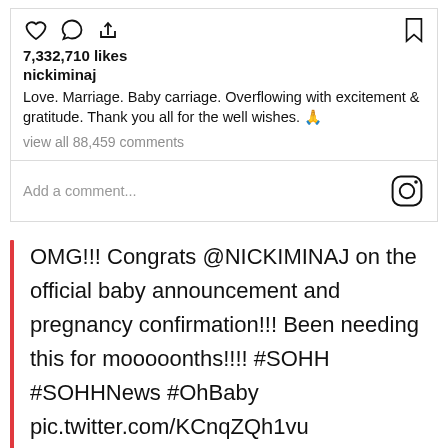[Figure (screenshot): Instagram post UI showing like/comment/share icons, bookmark icon, 7,332,710 likes, username nickiminaj, caption text, and view all 88,459 comments link, with Add a comment bar and Instagram logo]
OMG!!! Congrats @NICKIMINAJ on the official baby announcement and pregnancy confirmation!!! Been needing this for mooooonths!!!! #SOHH #SOHHNews #OhBaby pic.twitter.com/KCnqZQh1vu
— SOHH.com (@sohhdotcom) July 20, 2020